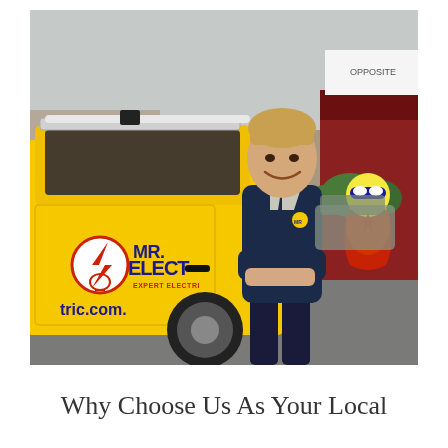[Figure (photo): A young smiling man in a dark navy Mr. Electric branded jacket stands next to a bright yellow truck/van with the Mr. Electric logo and text 'MR. ELECTRIC EXPERT ELECTRIC' and 'tric.com.' visible on the door. The vehicle has a white pipe/conduit on the roof rack. In the background are commercial buildings, trees, and a colorful Mr. Electric superhero mascot character cutout. The scene is outdoors in a parking area.]
Why Choose Us As Your Local